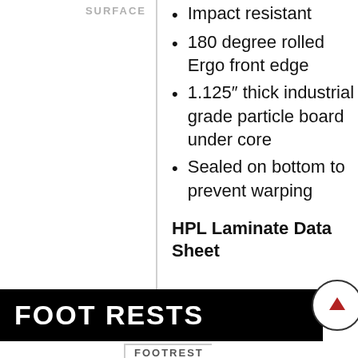SURFACE
Impact resistant
180 degree rolled Ergo front edge
1.125″ thick industrial grade particle board under core
Sealed on bottom to prevent warping
HPL Laminate Data Sheet
FOOT RESTS
FOOTREST